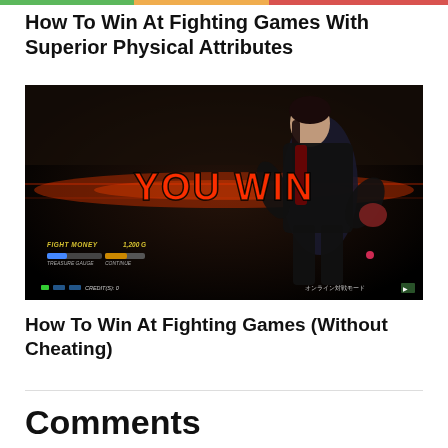How To Win At Fighting Games With Superior Physical Attributes
[Figure (screenshot): Screenshot from a fighting game (Tekken) showing a character in a black outfit striking a pose with 'YOU WIN' displayed in large red glowing letters. HUD elements visible including FIGHT MONEY 1,200 G, TREASURE GAUGE, CREDIT(S): 0, and Japanese text for online battle mode.]
How To Win At Fighting Games (Without Cheating)
Comments